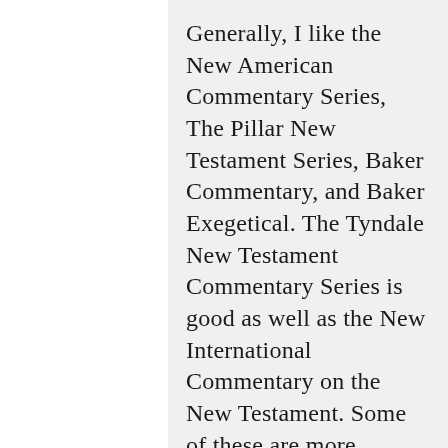Generally, I like the New American Commentary Series, The Pillar New Testament Series, Baker Commentary, and Baker Exegetical. The Tyndale New Testament Commentary Series is good as well as the New International Commentary on the New Testament. Some of these are more technical than others, but even without an understanding of the original languages one could use them. I really